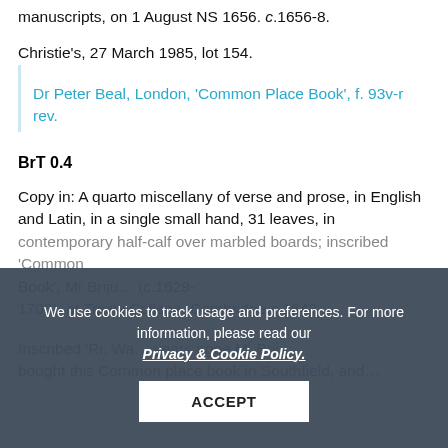of Suriname, Paris, where he is shown books and manuscripts, on 1 August NS 1656. c.1656-8.
Christie's, 27 March 1985, lot 154.
Dr Peter Beal, London, 'Common Place Book', f. 93v-r rev.
BrT 0.4
Copy in: A quarto miscellany of verse and prose, in English and Latin, in a single small hand, 31 leaves, in contemporary half-calf over marbled boards; inscribed 'Common Place Book', Mr Briju… (c.1629-1700), at Trinity College, Cambridge c.1643.
Inscribed 'Ri: Wa… years agoe Mr Briju bought this Common place book in Southfield, and…
We use cookies to track usage and preferences. For more information, please read our Privacy & Cookie Policy.
ACCEPT